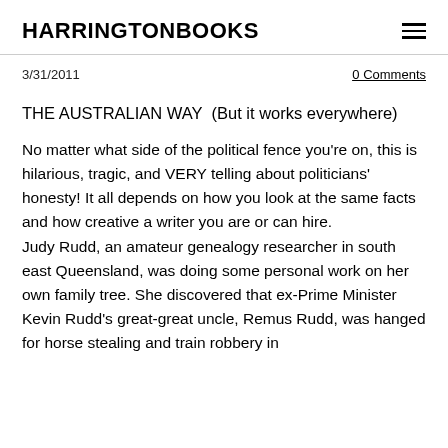HARRINGTONBOOKS
3/31/2011
0 Comments
THE AUSTRALIAN WAY  (But it works everywhere)
No matter what side of the political fence you're on, this is hilarious, tragic, and VERY telling about politicians' honesty! It all depends on how you look at the same facts and how creative a writer you are or can hire.
Judy Rudd, an amateur genealogy researcher in south east Queensland, was doing some personal work on her own family tree. She discovered that ex-Prime Minister Kevin Rudd's great-great uncle, Remus Rudd, was hanged for horse stealing and train robbery in